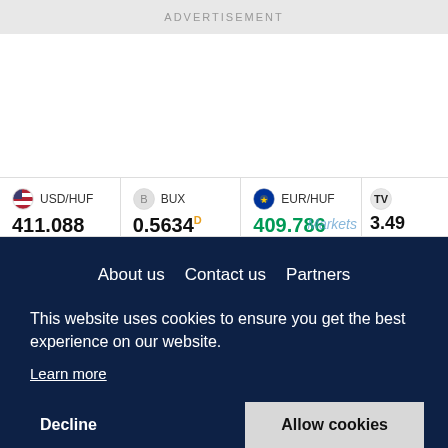[Figure (other): Advertisement banner, light grey background with text ADVERTISEMENT]
[Figure (other): Ticker bar showing currency pairs: USD/HUF 411.088 -1.747(-0.42%), BUX 0.5634 -0.0089(-1.56%), EUR/HUF 409.786 -1.554(-0.38%), and partially visible 4th item 3.49 0.00]
About us
Contact us
Partners
This website uses cookies to ensure you get the best experience on our website.
Learn more
Decline
Allow cookies